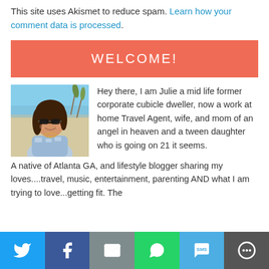This site uses Akismet to reduce spam. Learn how your comment data is processed.
WELCOME!
[Figure (photo): Photo of Julie, a woman with brown hair and sunglasses smiling, at a beach with sea oats in the background]
Hey there, I am Julie a mid life former corporate cubicle dweller, now a work at home Travel Agent, wife, and mom of an angel in heaven and a tween daughter who is going on 21 it seems. A native of Atlanta GA, and lifestyle blogger sharing my loves....travel, music, entertainment, parenting AND what I am trying to love...getting fit. The
Twitter | Facebook | Email | WhatsApp | SMS | More